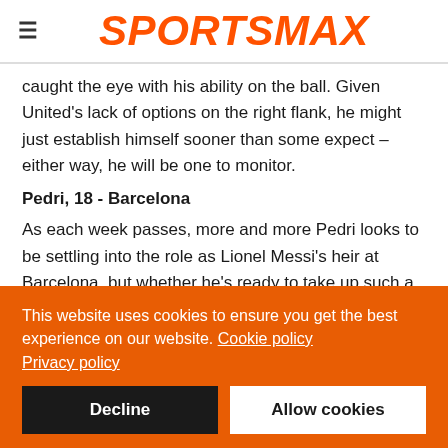SPORTSMAX
caught the eye with his ability on the ball. Given United's lack of options on the right flank, he might just establish himself sooner than some expect – either way, he will be one to monitor.
Pedri, 18 - Barcelona
As each week passes, more and more Pedri looks to be settling into the role as Lionel Messi's heir at Barcelona, but whether he's ready to take up such a mantle as early as this year is another matter. Messi's contract ends in June and so he could
This website uses cookies to ensure you get the best experience on our website. Cookie policy
Privacy policy
Decline
Allow cookies